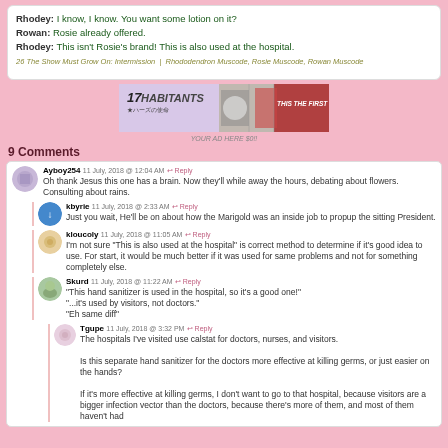Rhodey: I know, I know. You want some lotion on it?
Rowan: Rosie already offered.
Rhodey: This isn't Rosie's brand! This is also used at the hospital.
26 The Show Must Grow On: Intermission | Rhododendron Muscode, Rosie Muscode, Rowan Muscode
[Figure (illustration): Advertisement banner for '17Habitants' showing manga/anime style characters]
YOUR AD HERE $0!!
9 Comments
Ayboy254 11 July, 2018 @ 12:04 AM Reply — Oh thank Jesus this one has a brain. Now they'll while away the hours, debating about flowers. Consulting about rains.
kbyrie 11 July, 2018 @ 2:33 AM Reply — Just you wait, He'll be on about how the Marigold was an inside job to propup the sitting President.
kloucoly 11 July, 2018 @ 11:05 AM Reply — I'm not sure 'This is also used at the hospital' is correct method to determine if it's good idea to use. For start, it would be much better if it was used for same problems and not for something completely else.
Skurd 11 July, 2018 @ 11:22 AM Reply — "This hand sanitizer is used in the hospital, so it's a good one!" "...it's used by visitors, not doctors." "Eh same diff"
Tgupe 11 July, 2018 @ 3:32 PM Reply — The hospitals I've visited use calstat for doctors, nurses, and visitors. Is this separate hand sanitizer for the doctors more effective at killing germs, or just easier on the hands? If it's more effective at killing germs, I don't want to go to that hospital, because visitors are a bigger infection vector than the doctors, because there's more of them, and most of them haven't had